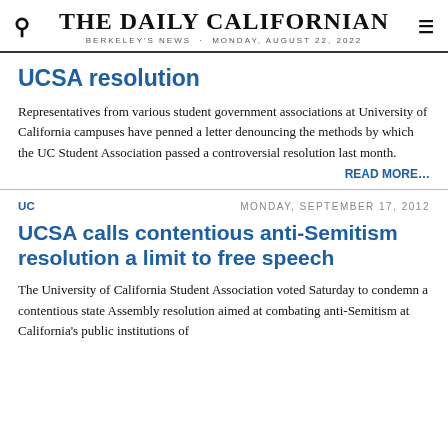THE DAILY CALIFORNIAN
BERKELEY'S NEWS · MONDAY, AUGUST 22, 2022
UCSA resolution
Representatives from various student government associations at University of California campuses have penned a letter denouncing the methods by which the UC Student Association passed a controversial resolution last month.
READ MORE…
UC
MONDAY, SEPTEMBER 17, 2012
UCSA calls contentious anti-Semitism resolution a limit to free speech
The University of California Student Association voted Saturday to condemn a contentious state Assembly resolution aimed at combating anti-Semitism at California's public institutions of